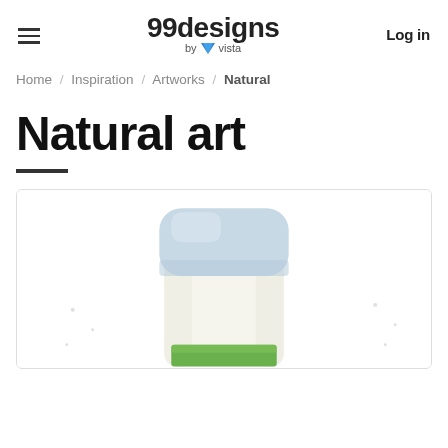99designs by vista | Log in
Home / Inspiration / Artworks / Natural
Natural art
[Figure (photo): A close-up photo of a white deodorant or cream stick product with a light blue rounded cap and a green label area at the bottom, shown centered against a white background inside a light gray bordered card.]